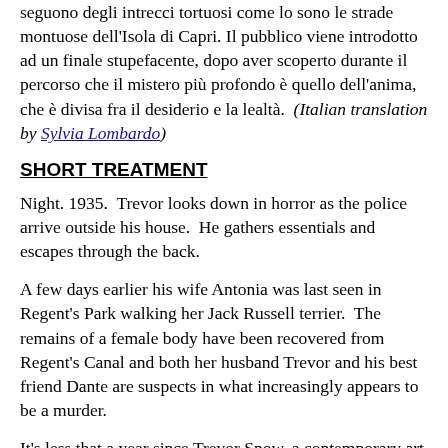seguono degli intrecci tortuosi come lo sono le strade montuose dell'Isola di Capri. Il pubblico viene introdotto ad un finale stupefacente, dopo aver scoperto durante il percorso che il mistero più profondo è quello dell'anima, che è divisa fra il desiderio e la lealtà.  (Italian translation by Sylvia Lombardo)
SHORT TREATMENT
Night. 1935.  Trevor looks down in horror as the police arrive outside his house.  He gathers essentials and escapes through the back.
A few days earlier his wife Antonia was last seen in Regent's Park walking her Jack Russell terrier.  The remains of a female body have been recovered from Regent's Canal and both her husband Trevor and his best friend Dante are suspects in what increasingly appears to be a murder.
It's less that a year since Trevor Snow, a contemporary art dealer, brought his beautiful young